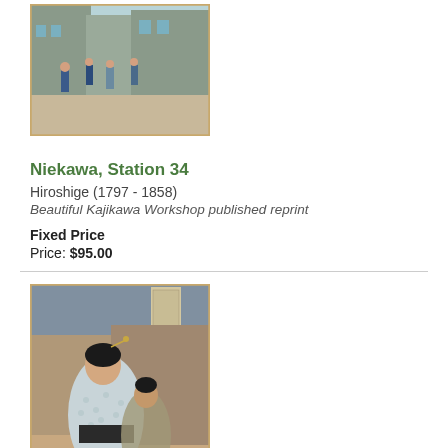[Figure (illustration): Japanese woodblock print showing a street scene with figures walking, buildings in background - Niekawa Station 34 by Hiroshige]
Niekawa, Station 34
Hiroshige (1797 - 1858)
Beautiful Kajikawa Workshop published reprint
Fixed Price
Price: $95.00
[Figure (illustration): Japanese woodblock print showing a woman in kimono at Ryogoku - Beauty at Ryogoku by Eisen]
Beauty at Ryogoku
Eisen (1790 - 1848)